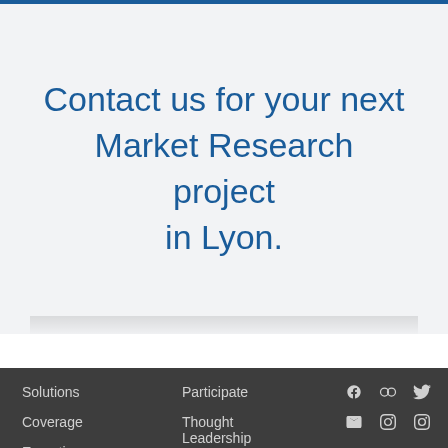Contact us for your next Market Research project in Lyon.
Solutions
Participate
Coverage
Thought Leadership
Expertise